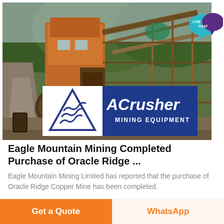[Figure (photo): Industrial mining site with large crushing/screening equipment, orange metal structures, conveyor belts, workers visible, mountainous forested background, dirt road. ACrusher Mining Equipment logo overlaid at bottom.]
Eagle Mountain Mining Completed Purchase of Oracle Ridge ...
Eagle Mountain Mining Limited has reported that the purchase of Oracle Ridge Copper Mine has been completed.
Get a Quote
WhatsApp